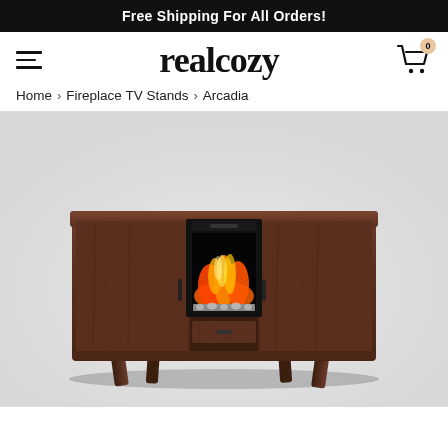Free Shipping For All Orders!
realcozy
Home > Fireplace TV Stands > Arcadia
[Figure (photo): A dark walnut mid-century modern TV stand with a built-in electric fireplace insert showing orange and red flames, flanked by two cabinet doors with black handles, a center drawer below the fireplace, and angled wood legs.]